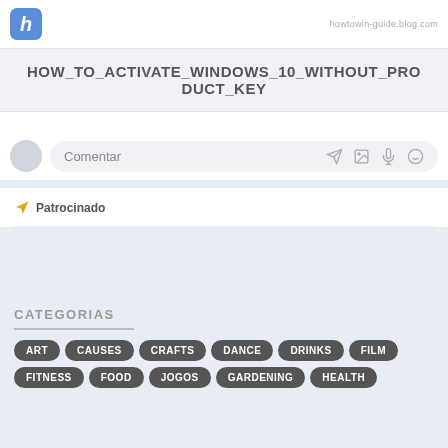h  howtowin-guide.blog.com
HOW_TO_ACTIVATE_WINDOWS_10_WITHOUT_PRODUCT_KEY
[Figure (other): Comment input bar with avatar, placeholder text 'Comentar', and icons for send, image, microphone, and emoji]
Patrocinado
CATEGORIAS
ART
CAUSES
CRAFTS
DANCE
DRINKS
FILM
FITNESS
FOOD
JOGOS
GARDENING
HEALTH